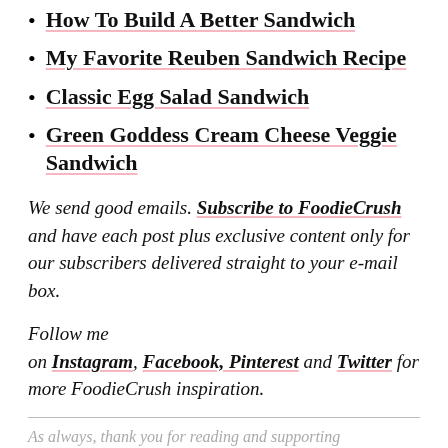How To Build A Better Sandwich
My Favorite Reuben Sandwich Recipe
Classic Egg Salad Sandwich
Green Goddess Cream Cheese Veggie Sandwich
We send good emails. Subscribe to FoodieCrush and have each post plus exclusive content only for our subscribers delivered straight to your e-mail box.
Follow me on Instagram, Facebook, Pinterest and Twitter for more FoodieCrush inspiration.
As always, thank you for reading and supporting